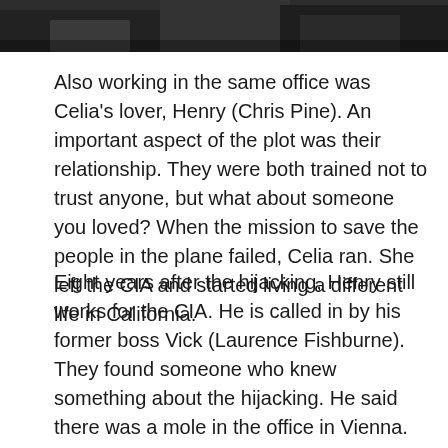[Figure (photo): Top portion of a dark photograph showing people in an office or indoor setting, partially cropped]
Also working in the same office was Celia's lover, Henry (Chris Pine). An important aspect of the plot was their relationship. They were both trained not to trust anyone, but what about someone you loved? When the mission to save the people in the plane failed, Celia ran. She left the CIA and started living a different life in California.
Eight years after the hijacking, Henry still works for the CIA. He is called in by his former boss Vick (Laurence Fishburne). They found someone who knew something about the hijacking. He said there was a mole in the office in Vienna. Henry is sent to investigate all the people who were working there